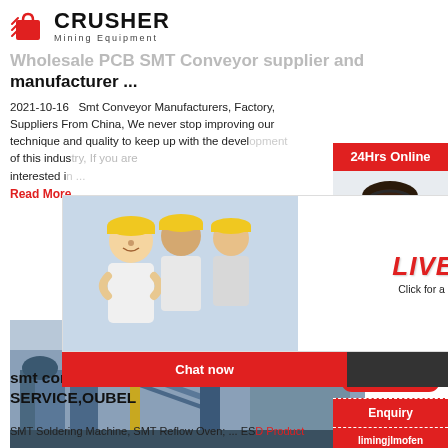[Figure (logo): Crusher Mining Equipment logo with red shopping bag icon and bold CRUSHER text]
Wholesale PCB SMT Conveyor supplier and manufacturer ...
2021-10-16   Smt Conveyor Manufacturers, Factory, Suppliers From China, We never stop improving our technique and quality to keep up with the development of this industry, If you are interested in ...
Read More
[Figure (photo): Industrial mining/processing plant with blue steel structures and conveyors]
[Figure (infographic): Live Chat popup overlay with workers in hard hats, Chat now and Chat later buttons]
[Figure (infographic): Right sidebar with 24Hrs Online, agent photo, Need questions & suggestion, Chat Now button, Enquiry, limingjlmofen@sina.com]
smt conveyors ONESMT-SMT 1 STOP SERVICE,OUBEL
SMT Soldering Machine, SMT Reflow Oven; ... ESD Product